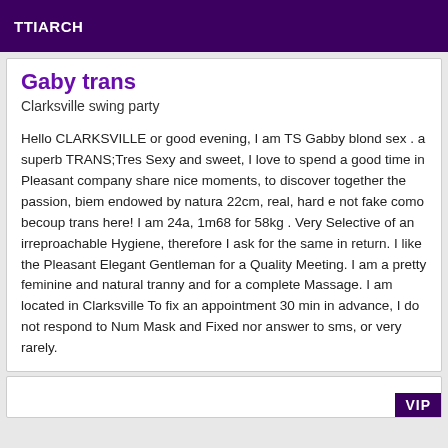TTIARCH
Gaby trans
Clarksville swing party
Hello CLARKSVILLE or good evening, I am TS Gabby blond sex . a superb TRANS;Tres Sexy and sweet, I love to spend a good time in Pleasant company share nice moments, to discover together the passion, biem endowed by natura 22cm, real, hard e not fake como becoup trans here! I am 24a, 1m68 for 58kg . Very Selective of an irreproachable Hygiene, therefore I ask for the same in return. I like the Pleasant Elegant Gentleman for a Quality Meeting. I am a pretty feminine and natural tranny and for a complete Massage. I am located in Clarksville To fix an appointment 30 min in advance, I do not respond to Num Mask and Fixed nor answer to sms, or very rarely.